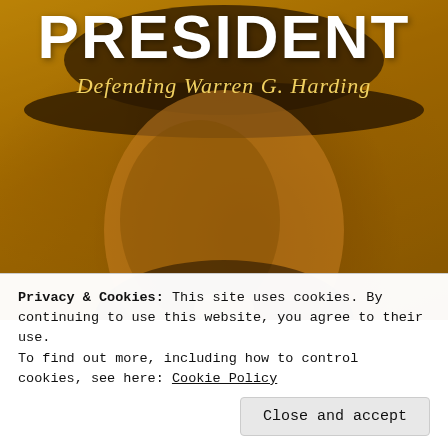[Figure (illustration): Book cover showing 'PRESIDENT - Defending Warren G. Harding' with a golden-sepia toned portrait of a man in a hat (Warren G. Harding), large bold white text reading PRESIDENT at top, italic gold text 'Defending Warren G. Harding' below]
Privacy & Cookies: This site uses cookies. By continuing to use this website, you agree to their use.
To find out more, including how to control cookies, see here: Cookie Policy
Close and accept